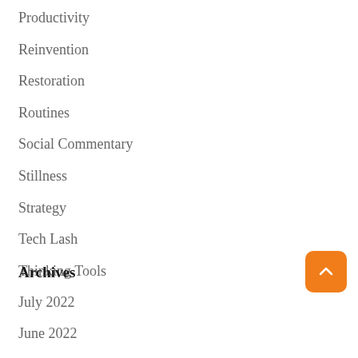Productivity
Reinvention
Restoration
Routines
Social Commentary
Stillness
Strategy
Tech Lash
Thinking Tools
Archives
July 2022
June 2022